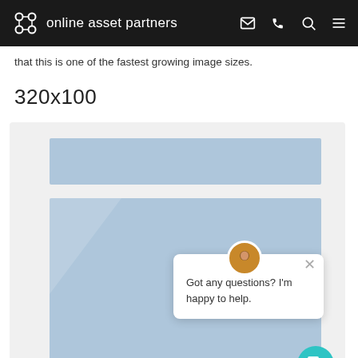online asset partners
that this is one of the fastest growing image sizes.
320x100
[Figure (screenshot): Screenshot of a webpage showing two blue banner ad placeholders (320x100 format) with a live chat popup overlay. The chat popup shows an avatar photo of a person, a close button (×), and the message 'Got any questions? I'm happy to help.' A teal chat button appears in the bottom right corner.]